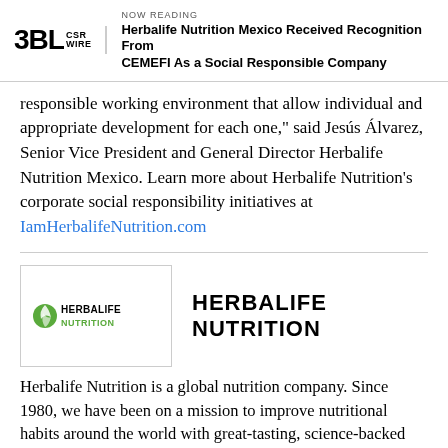NOW READING | Herbalife Nutrition Mexico Received Recognition From CEMEFI As a Social Responsible Company
responsible working environment that allow individual and appropriate development for each one," said Jesús Álvarez, Senior Vice President and General Director Herbalife Nutrition Mexico. Learn more about Herbalife Nutrition's corporate social responsibility initiatives at IamHerbalifeNutrition.com
[Figure (logo): Herbalife Nutrition logo in a bordered box]
HERBALIFE NUTRITION
Herbalife Nutrition is a global nutrition company. Since 1980, we have been on a mission to improve nutritional habits around the world with great-tasting, science-backed nutrition products that help people get the right balance of healthy nutrition...